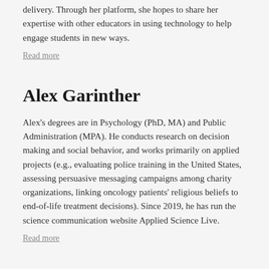delivery. Through her platform, she hopes to share her expertise with other educators in using technology to help engage students in new ways.
Read more
Alex Garinther
Alex's degrees are in Psychology (PhD, MA) and Public Administration (MPA). He conducts research on decision making and social behavior, and works primarily on applied projects (e.g., evaluating police training in the United States, assessing persuasive messaging campaigns among charity organizations, linking oncology patients' religious beliefs to end-of-life treatment decisions). Since 2019, he has run the science communication website Applied Science Live.
Read more
Conor Lane